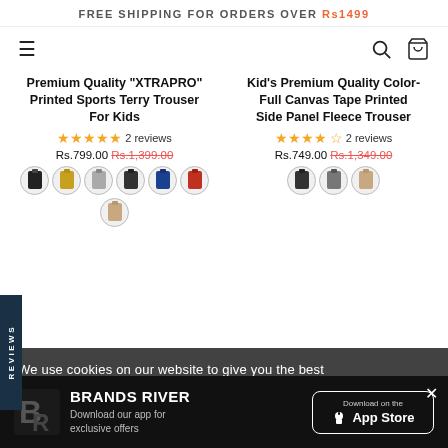FREE SHIPPING FOR ORDERS OVER Rs1499
[Figure (screenshot): Navigation bar with hamburger menu, search icon, and basket icon]
Premium Quality "XTRAPRO" Printed Sports Terry Trouser For Kids
★★★★★ 2 reviews
Rs.799.00 Rs.1,399.00
Kid's Premium Quality Color-Full Canvas Tape Printed Side Panel Fleece Trouser
★★★★☆ 2 reviews
Rs.749.00 Rs.1,349.00
[Figure (photo): Clothes on hangers in a dark store background]
We use cookies on our website to give you the best
BRANDS RIVER
Download our app for exclusive offers
[Figure (logo): App Store download button]